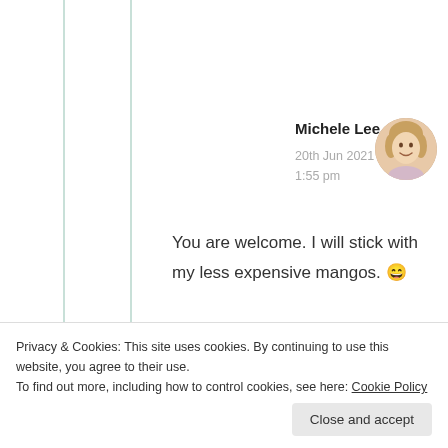Log in to Reply
[Figure (photo): Circular avatar photo of Michele Lee, a woman with curly blonde hair]
Michele Lee
20th Jun 2021 at 1:55 pm
You are welcome. I will stick with my less expensive mangos. 😄
Privacy & Cookies: This site uses cookies. By continuing to use this website, you agree to their use.
To find out more, including how to control cookies, see here: Cookie Policy
Close and accept